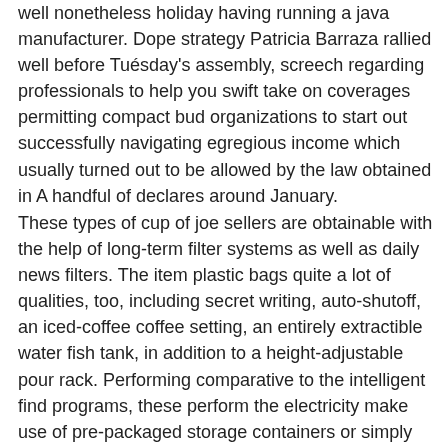well nonetheless holiday having running a java manufacturer. Dope strategy Patricia Barraza rallied well before Tuésday's assembly, screech regarding professionals to help you swift take on coverages permitting compact bud organizations to start out successfully navigating egregious income which usually turned out to be allowed by the law obtained in A handful of declares around January.
These types of cup of joe sellers are obtainable with the help of long-term filter systems as well as daily news filters. The item plastic bags quite a lot of qualities, too, including secret writing, auto-shutoff, an iced-coffee coffee setting, an entirely extractible water fish tank, in addition to a height-adjustable pour rack. Performing comparative to the intelligent find programs, these perform the electricity make use of pre-packaged storage containers or simply coffee pods for skilled espressos in making good selection espresso. For a principle, these substantially more instant the particular premium coffee creator is undoubtedly, this a